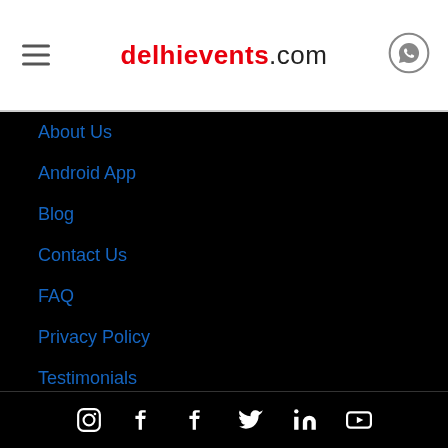delhievents.com
About Us
Android App
Blog
Contact Us
FAQ
Privacy Policy
Testimonials
WhatsApp / Email Updates
Social media icons: Instagram, Facebook, Facebook, Twitter, LinkedIn, YouTube